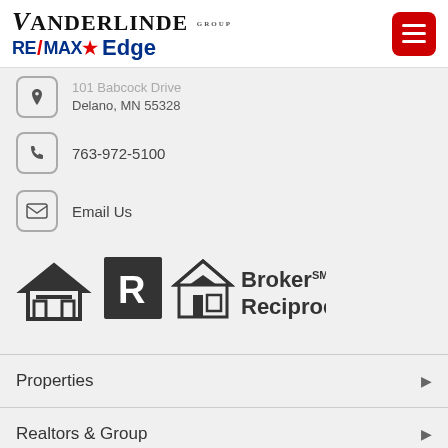Vanderlinde Group RE/MAX Edge
Delano, MN 55328
763-972-5100
Email Us
[Figure (logo): Broker Reciprocity logo with equal housing and MLS icons]
Properties
Realtors & Group
Testimonials